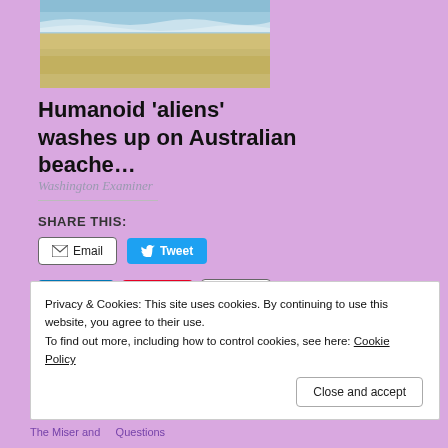[Figure (photo): A beach scene with ocean waves, sandy shore, and blue sky]
Humanoid 'aliens' washes up on Australian beache…
Washington Examiner
SHARE THIS:
Email | Tweet | Share | Save | Print
Privacy & Cookies: This site uses cookies. By continuing to use this website, you agree to their use. To find out more, including how to control cookies, see here: Cookie Policy
Close and accept
The Miser and   Questions